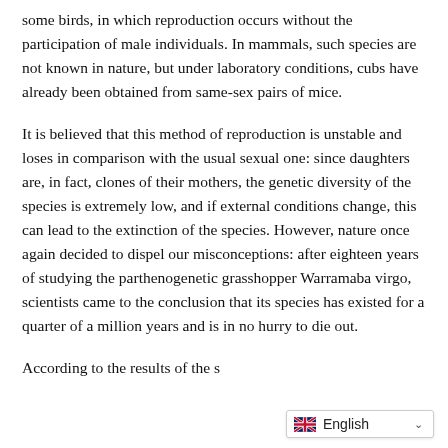some birds, in which reproduction occurs without the participation of male individuals. In mammals, such species are not known in nature, but under laboratory conditions, cubs have already been obtained from same-sex pairs of mice.
It is believed that this method of reproduction is unstable and loses in comparison with the usual sexual one: since daughters are, in fact, clones of their mothers, the genetic diversity of the species is extremely low, and if external conditions change, this can lead to the extinction of the species. However, nature once again decided to dispel our misconceptions: after eighteen years of studying the parthenogenetic grasshopper Warramaba virgo, scientists came to the conclusion that its species has existed for a quarter of a million years and is in no hurry to die out.
According to the results of the s